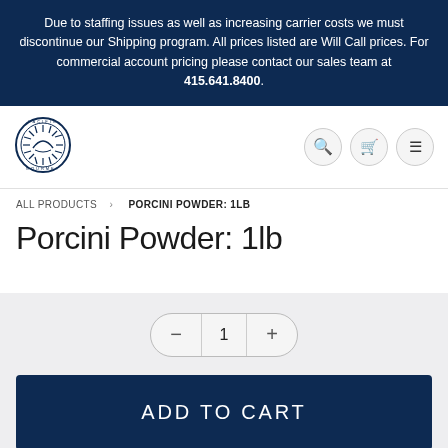Due to staffing issues as well as increasing carrier costs we must discontinue our Shipping program. All prices listed are Will Call prices. For commercial account pricing please contact our sales team at 415.641.8400.
[Figure (logo): Pacific Gourmet circular logo with sun/shell design]
Navigation icons: search, cart, menu
ALL PRODUCTS › PORCINI POWDER: 1LB
Porcini Powder: 1lb
Quantity selector: minus, 1, plus
ADD TO CART